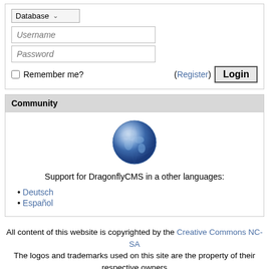[Figure (screenshot): Login form with Database dropdown, Username and Password fields, Remember me checkbox, Register link, and Login button]
Community
[Figure (illustration): Blue globe/earth icon]
Support for DragonflyCMS in a other languages:
Deutsch
Español
All content of this website is copyrighted by the Creative Commons NC-SA
The logos and trademarks used on this site are the property of their respective owners
We are not responsible for comments posted by our users, as they are the property of the poster.
Our server runs on 2 × 2.4 Ghz @ 60% with 2048 MB RAM with no accelerators
Interactive software released under GNU GPL, Code Credits, Privacy Policy